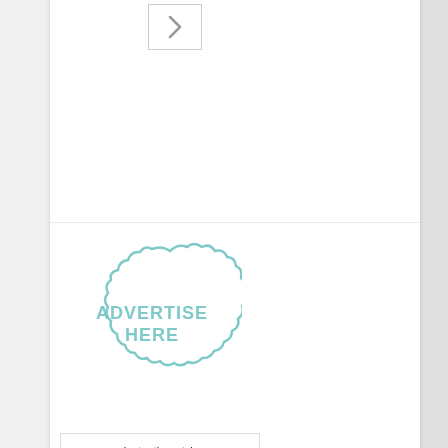[Figure (other): Navigation chevron/arrow button pointing right, inside a bordered box]
[Figure (other): Scalloped circular badge with teal/light blue border and text reading 'ADVERTISE HERE' in teal letters]
[Figure (other): Amazon Prime Instant Video advertisement banner with text 'Instantly watch movies & TV shows', Amazon logo with play button, Prime instant video text, and 'Start Free Trial' yellow button]